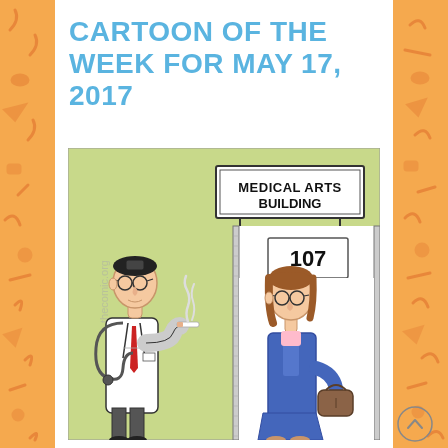CARTOON OF THE WEEK FOR MAY 17, 2017
[Figure (illustration): A cartoon showing a doctor in a white coat with a stethoscope, wearing a head mirror, smoking a cigarette outside the Medical Arts Building room 107. A female patient with brown hair, glasses, a blue jacket and skirt, carrying a handbag, is entering through the door.]